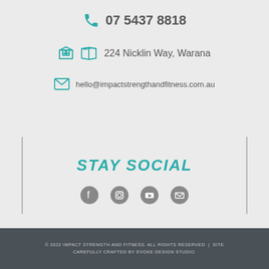07 5437 8818
224 Nicklin Way, Warana
hello@impactstrengthandfitness.com.au
STAY SOCIAL
[Figure (other): Social media icons: Facebook, Instagram, YouTube, Email]
© 2022 IMPACT STRENGTH AND FITNESS. ALL RIGHTS RESERVED  |  SITE CAREFULLY CRAFTED BY EVOKE DESIGN STUDIO.